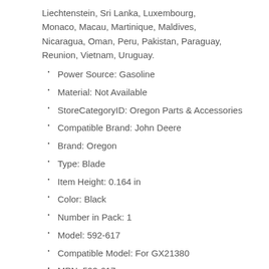Liechtenstein, Sri Lanka, Luxembourg, Monaco, Macau, Martinique, Maldives, Nicaragua, Oman, Peru, Pakistan, Paraguay, Reunion, Vietnam, Uruguay.
Power Source: Gasoline
Material: Not Available
StoreCategoryID: Oregon Parts & Accessories
Compatible Brand: John Deere
Brand: Oregon
Type: Blade
Item Height: 0.164 in
Color: Black
Number in Pack: 1
Model: 592-617
Compatible Model: For GX21380
MPN: 592-617
Item Length: 18-5/8 in
Item Width: 3 in
Item Weight: 2.35 lbs